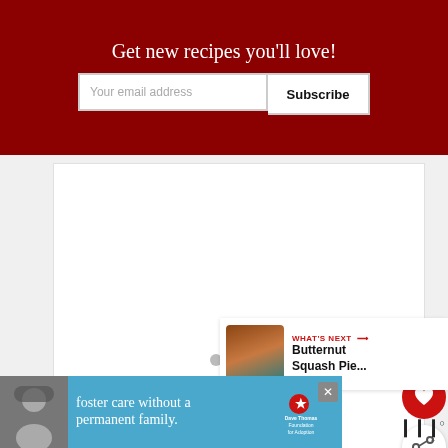Get new recipes you'll love!
Your email address
Subscribe
[Figure (illustration): White rectangular content placeholder box 1]
[Figure (illustration): White rectangular content placeholder box 2 with carousel dots and floating heart and share buttons]
WHAT'S NEXT → Butternut Squash Pie...
[Figure (photo): Advertisement banner: person in beanie hat, foster care text, Dave Thomas Foundation for Adoption logo]
foster care without a permanent family.